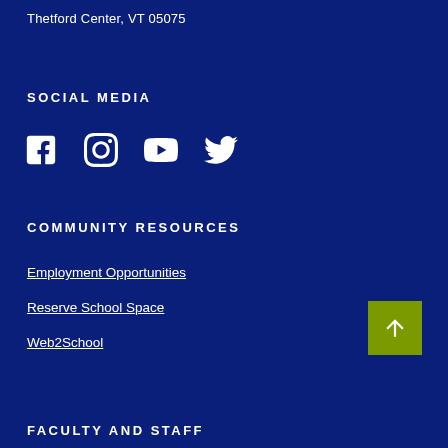Thetford Center, VT 05075
SOCIAL MEDIA
[Figure (other): Social media icons: Facebook, Instagram, YouTube, Twitter]
COMMUNITY RESOURCES
Employment Opportunities
Reserve School Space
Web2School
[Figure (other): Back to top button with upward arrow on olive/green background]
FACULTY AND STAFF